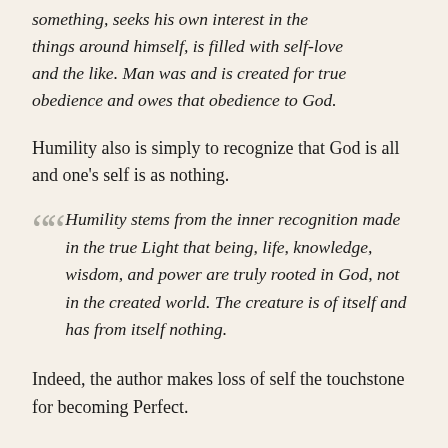something, seeks his own interest in the things around himself, is filled with self-love and the like. Man was and is created for true obedience and owes that obedience to God.
Humility also is simply to recognize that God is all and one's self is as nothing.
Humility stems from the inner recognition made in the true Light that being, life, knowledge, wisdom, and power are truly rooted in God, not in the created world. The creature is of itself and has from itself nothing.
Indeed, the author makes loss of self the touchstone for becoming Perfect.